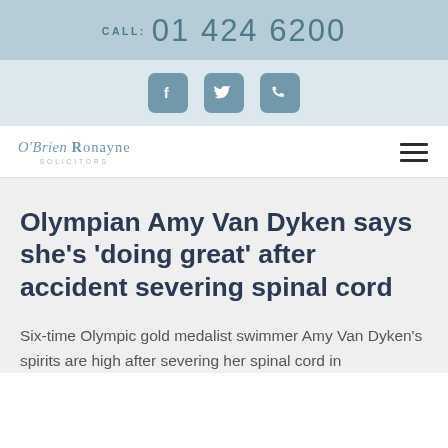CALL: 01 424 6200
[Figure (other): Social media icons: Facebook, Twitter, Phone]
[Figure (logo): O'Brien Ronayne Solicitors logo]
Olympian Amy Van Dyken says she's 'doing great' after accident severing spinal cord
Six-time Olympic gold medalist swimmer Amy Van Dyken's spirits are high after severing her spinal cord in